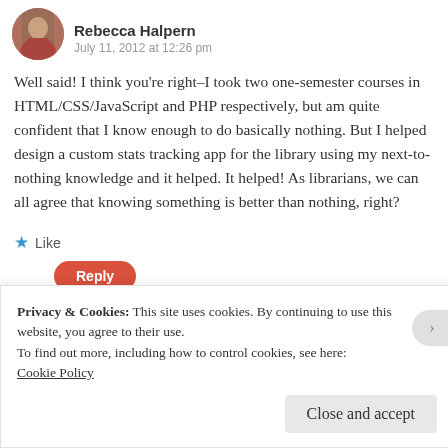[Figure (photo): Circular avatar photo of Rebecca Halpern, a woman in a pink/red top outdoors]
Rebecca Halpern
July 11, 2012 at 12:26 pm
Well said! I think you're right–I took two one-semester courses in HTML/CSS/JavaScript and PHP respectively, but am quite confident that I know enough to do basically nothing. But I helped design a custom stats tracking app for the library using my next-to-nothing knowledge and it helped. It helped! As librarians, we can all agree that knowing something is better than nothing, right?
★ Like
Reply
Privacy & Cookies: This site uses cookies. By continuing to use this website, you agree to their use.
To find out more, including how to control cookies, see here:
Cookie Policy
Close and accept